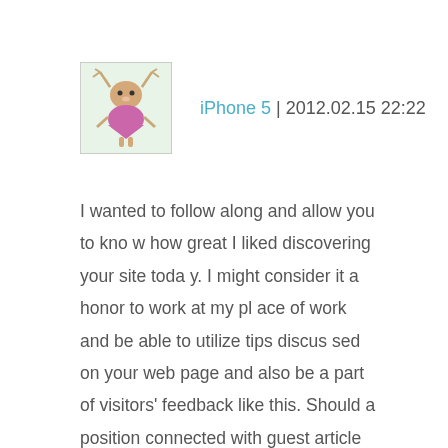[Figure (illustration): Avatar illustration: cartoon creature resembling a reindeer or alien figure with antlers, pink body, seated on a white/light green background]
iPhone 5 | 2012.02.15 22:22
I wanted to follow along and allow you to know how great I liked discovering your site today. I might consider it a honor to work at my place of work and be able to utilize tips discussed on your web page and also be a part of visitors' feedback like this. Should a position connected with guest article writer become on offer at your end, remember to let me know.